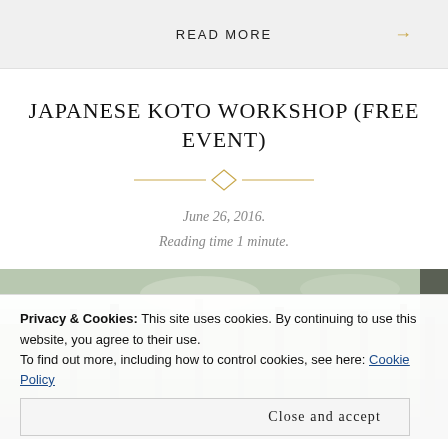READ MORE →
JAPANESE KOTO WORKSHOP (FREE EVENT)
June 26, 2016.
Reading time 1 minute.
[Figure (photo): Outdoor photo showing tall trees with thin trunks, sky visible through foliage, and people partially visible at the bottom edge]
Privacy & Cookies: This site uses cookies. By continuing to use this website, you agree to their use.
To find out more, including how to control cookies, see here: Cookie Policy
Close and accept